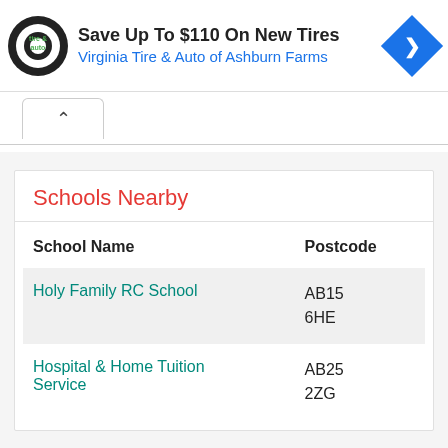[Figure (logo): Virginia Tire & Auto circular logo with tire and handshake graphic]
Save Up To $110 On New Tires
Virginia Tire & Auto of Ashburn Farms
Schools Nearby
| School Name | Postcode |
| --- | --- |
| Holy Family RC School | AB15 6HE |
| Hospital & Home Tuition Service | AB25 2ZG |